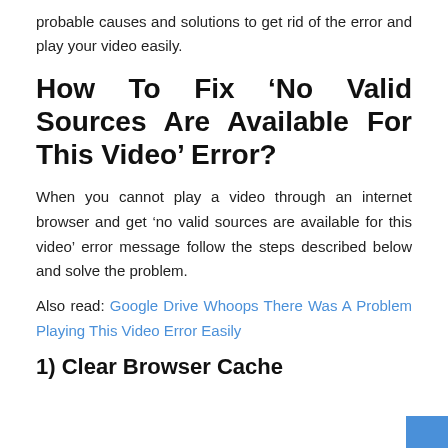probable causes and solutions to get rid of the error and play your video easily.
How To Fix ‘No Valid Sources Are Available For This Video’ Error?
When you cannot play a video through an internet browser and get ‘no valid sources are available for this video’ error message follow the steps described below and solve the problem.
Also read: Google Drive Whoops There Was A Problem Playing This Video Error Easily
1) Clear Browser Cache